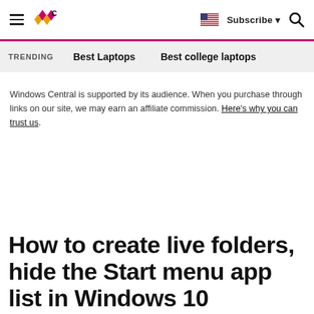Windows Central — Subscribe | Search | Flag
TRENDING   Best Laptops   Best college laptops
Windows Central is supported by its audience. When you purchase through links on our site, we may earn an affiliate commission. Here's why you can trust us.
How to create live folders, hide the Start menu app list in Windows 10